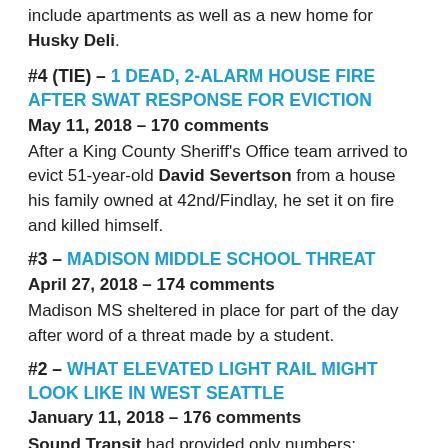include apartments as well as a new home for Husky Deli.
#4 (tie) – 1 DEAD, 2-ALARM HOUSE FIRE AFTER SWAT RESPONSE FOR EVICTION
May 11, 2018 – 170 comments
After a King County Sheriff's Office team arrived to evict 51-year-old David Severtson from a house his family owned at 42nd/Findlay, he set it on fire and killed himself.
#3 – MADISON MIDDLE SCHOOL THREAT
April 27, 2018 – 174 comments
Madison MS sheltered in place for part of the day after word of a threat made by a student.
#2 – WHAT ELEVATED LIGHT RAIL MIGHT LOOK LIKE IN WEST SEATTLE
January 11, 2018 – 176 comments
Sound Transit had provided only numbers; "Avalon Tom" provided unofficial visualizations.